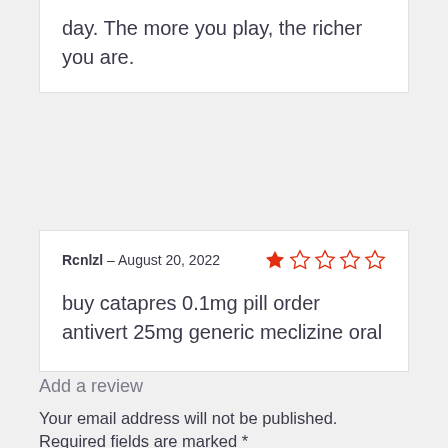day. The more you play, the richer you are.
Rcnlzl – August 20, 2022
buy catapres 0.1mg pill order antivert 25mg generic meclizine oral
Add a review
Your email address will not be published. Required fields are marked *